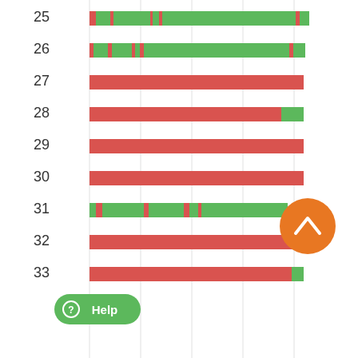[Figure (stacked-bar-chart): Horizontal stacked bar chart showing rows 25-33 with red and green segments, an orange scroll-to-top button, and a green Help button]